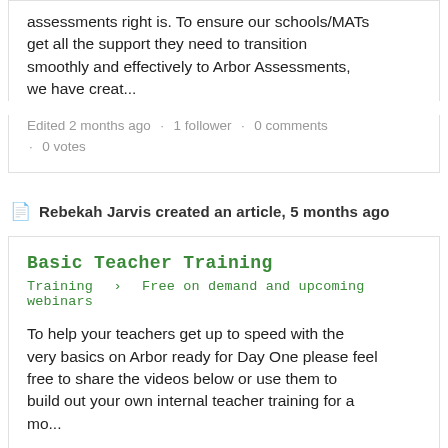assessments right is. To ensure our schools/MATs get all the support they need to transition smoothly and effectively to Arbor Assessments, we have creat...
Edited 2 months ago · 1 follower · 0 comments · 0 votes
Rebekah Jarvis created an article, 5 months ago
Basic Teacher Training
Training › Free on demand and upcoming webinars
To help your teachers get up to speed with the very basics on Arbor ready for Day One please feel free to share the videos below or use them to build out your own internal teacher training for a mo...
Edited 5 months ago · 1 follower · 0 comments